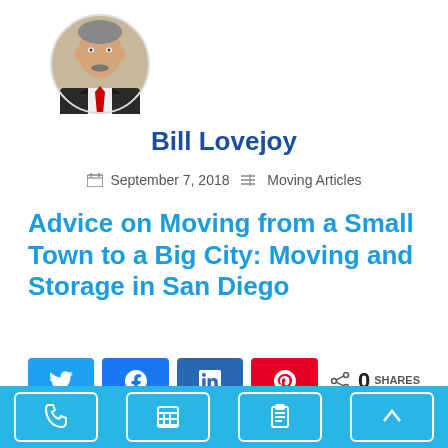[Figure (photo): Circular cropped headshot of Bill Lovejoy, a man in a dark suit with red tie, white shirt]
Bill Lovejoy
September 7, 2018   Moving Articles
Advice on Moving from a Small Town to a Big City: Moving and Storage in San Diego
[Figure (infographic): Social share buttons: Twitter, Facebook, LinkedIn, Pinterest, and share count showing 0 SHARES]
If you have been living in a small town there are a
[Figure (infographic): Bottom navigation bar with phone, calculator, clipboard/list, and up-arrow icons on cyan/blue background]